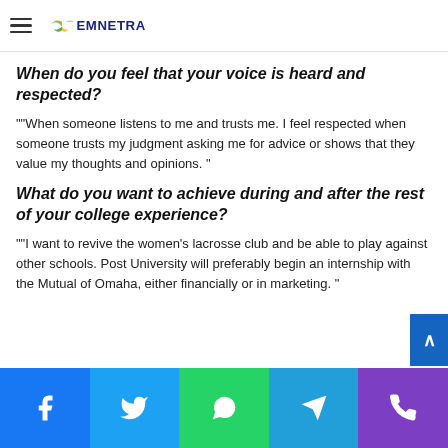EMNETRA
When do you feel that your voice is heard and respected?
""When someone listens to me and trusts me. I feel respected when someone trusts my judgment asking me for advice or shows that they value my thoughts and opinions. "
What do you want to achieve during and after the rest of your college experience?
""I want to revive the women's lacrosse club and be able to play against other schools. Post University will preferably begin an internship with the Mutual of Omaha, either financially or in marketing. "